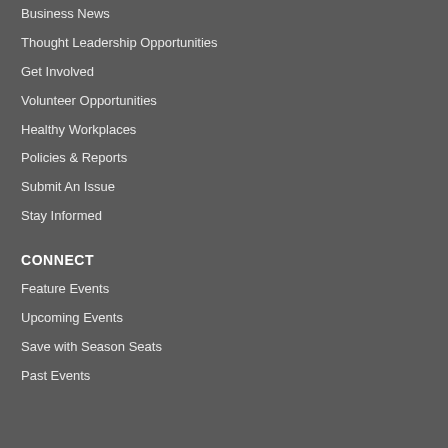Business News
Thought Leadership Opportunities
Get Involved
Volunteer Opportunities
Healthy Workplaces
Policies & Reports
Submit An Issue
Stay Informed
CONNECT
Feature Events
Upcoming Events
Save with Season Seats
Past Events